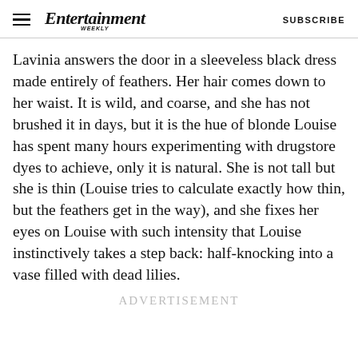Entertainment Weekly | SUBSCRIBE
Lavinia answers the door in a sleeveless black dress made entirely of feathers. Her hair comes down to her waist. It is wild, and coarse, and she has not brushed it in days, but it is the hue of blonde Louise has spent many hours experimenting with drugstore dyes to achieve, only it is natural. She is not tall but she is thin (Louise tries to calculate exactly how thin, but the feathers get in the way), and she fixes her eyes on Louise with such intensity that Louise instinctively takes a step back: half-knocking into a vase filled with dead lilies.
ADVERTISEMENT